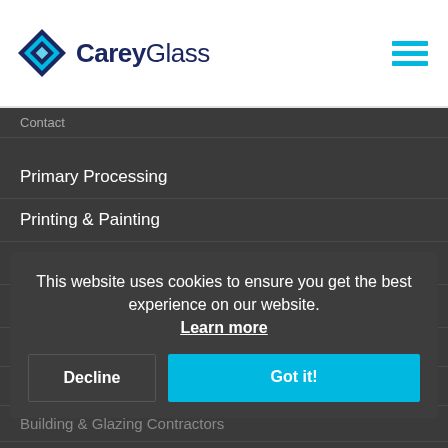[Figure (logo): Carey Glass logo with diamond/cross hatch icon and text CareyGlass]
CareyGlass
Contact
Primary Processing
Printing & Painting
Laminating
Curving
Heat Treating
Assembly & Finishing
Building & Glazing Contractors
Internal Glazing Contractors
Window Manufacturers
Architectural Metalwork Contractors
Supporting Architects & Engineers
This website uses cookies to ensure you get the best experience on our website. Learn more
Decline
Got it!